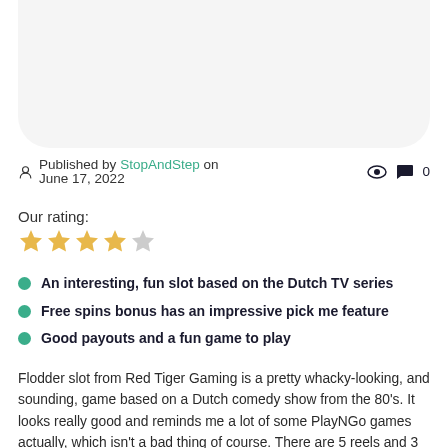[Figure (other): White rounded card / image placeholder at the top of the page]
Published by StopAndStep on June 17, 2022  0
Our rating:
[Figure (other): 4 out of 5 star rating displayed as gold and grey stars]
An interesting, fun slot based on the Dutch TV series
Free spins bonus has an impressive pick me feature
Good payouts and a fun game to play
Flodder slot from Red Tiger Gaming is a pretty whacky-looking, and sounding, game based on a Dutch comedy show from the 80's. It looks really good and reminds me a lot of some PlayNGo games actually, which isn't a bad thing of course. There are 5 reels and 3 rows to give you 25 pay